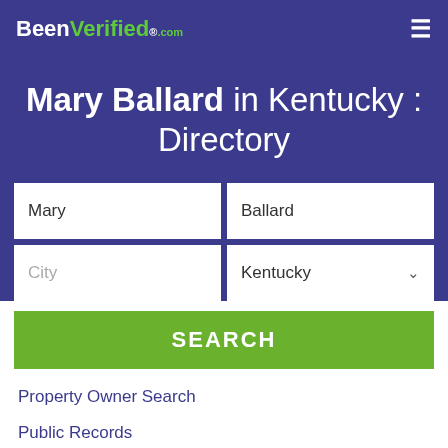BeenVerified.com
Mary Ballard in Kentucky : Directory
Mary | Ballard
City | Kentucky
SEARCH
Property Owner Search
Public Records
Criminal Records